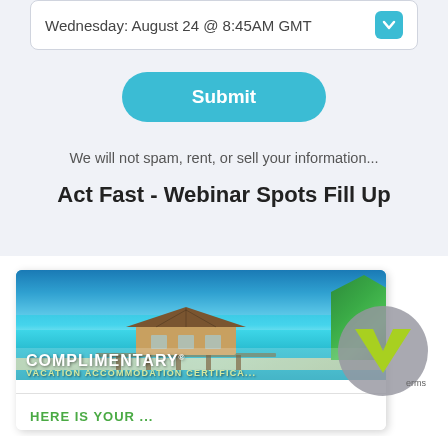Wednesday: August 24 @ 8:45AM GMT
Submit
We will not spam, rent, or sell your information...
Act Fast - Webinar Spots Fill Up
[Figure (photo): Complimentary Vacation Accommodation Certificate card with tropical beach background showing overwater bungalow and 'COMPLIMENTARY VACATION ACCOMMODATION CERTIFICA...' text, partially covered by a grey V-logo watermark circle]
HERE IS YOUR...